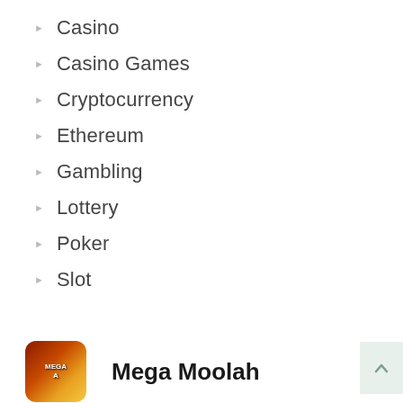Casino
Casino Games
Cryptocurrency
Ethereum
Gambling
Lottery
Poker
Slot
[Figure (illustration): Mega Moolah slot game thumbnail with fiery/golden styling and text MEGA]
Mega Moolah